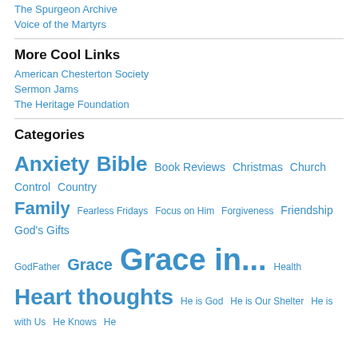The Spurgeon Archive
Voice of the Martyrs
More Cool Links
American Chesterton Society
Sermon Jams
The Heritage Foundation
Categories
Anxiety Bible Book Reviews Christmas Church Control Country Family Fearless Fridays Focus on Him Forgiveness Friendship God's Gifts GodFather Grace Grace in... Health Heart thoughts He is God He is Our Shelter He is with Us He Knows He